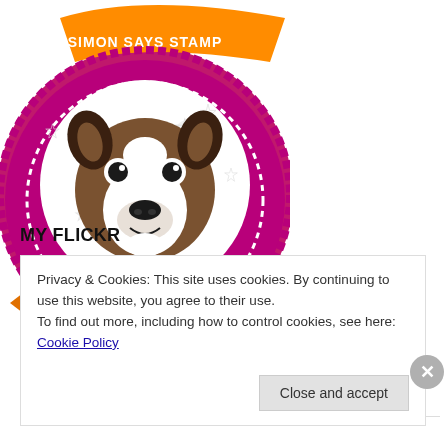[Figure (logo): Simon Says Stamp Wednesday Challenge Winner badge: circular badge with pink/purple background, Boston Terrier dog illustration in center circle, orange banner at bottom reading WEDNESDAY CHALLENGE WINNER, text SIMON SAYS STAMP at top]
Tricia's Card
MY FLICKR
Privacy & Cookies: This site uses cookies. By continuing to use this website, you agree to their use.
To find out more, including how to control cookies, see here: Cookie Policy
Close and accept